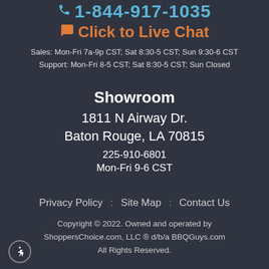1-844-917-1035
Click to Live Chat
Sales: Mon-Fri 7a-9p CST; Sat 8:30-5 CST; Sun 9:30-6 CST
Support: Mon-Fri 8-5 CST; Sat 8:30-5 CST; Sun Closed
Showroom
1811 N Airway Dr.
Baton Rouge, LA 70815
225-910-6801
Mon-Fri 9-6 CST
Privacy Policy : Site Map : Contact Us
Copyright © 2022. Owned and operated by ShoppersChoice.com, LLC ® d/b/a BBQGuys.com All Rights Reserved.